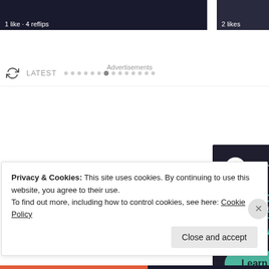[Figure (screenshot): Dark thumbnail image strip showing '1 like · 4 reflips' on the left and '2 likes' on the right]
1 like · 4 reflips
2 likes
[Figure (screenshot): Navigation bar with refresh icon, LATEST label, and dot pagination indicators with one active dot]
LATEST
Advertisements
[Figure (infographic): Sensei advertisement banner with dark background showing logo, headline 'Launch your online course with WordPress', and 'Learn More' button]
Launch your online course with WordPress
Learn More
Privacy & Cookies: This site uses cookies. By continuing to use this website, you agree to their use.
To find out more, including how to control cookies, see here: Cookie Policy
Close and accept